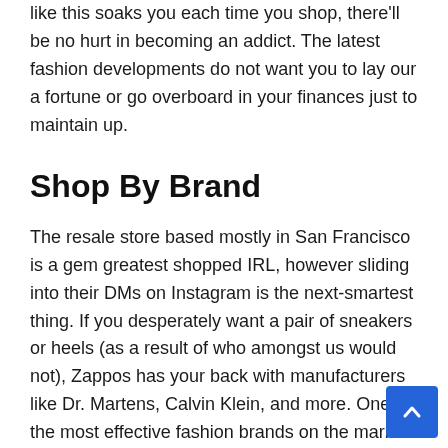like this soaks you each time you shop, there'll be no hurt in becoming an addict. The latest fashion developments do not want you to lay our a fortune or go overboard in your finances just to maintain up.
Shop By Brand
The resale store based mostly in San Francisco is a gem greatest shopped IRL, however sliding into their DMs on Instagram is the next-smartest thing. If you desperately want a pair of sneakers or heels (as a result of who amongst us would not), Zappos has your back with manufacturers like Dr. Martens, Calvin Klein, and more. One of the most effective fashion brands on the market. For the give most ideal b